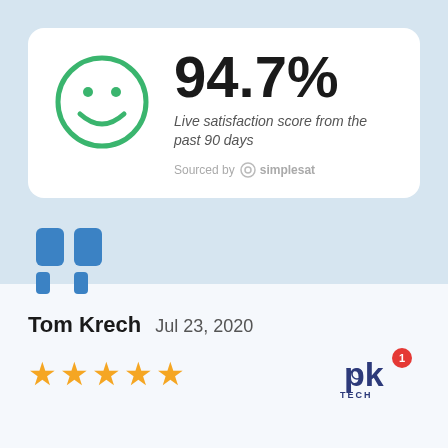[Figure (infographic): Satisfaction score card with green smiley face icon showing 94.7% live satisfaction score from the past 90 days, sourced by simplesat]
[Figure (infographic): Customer review card with large blue quotation marks, reviewer Tom Krech dated Jul 23 2020, five gold stars, and PK Tech logo with badge showing 1]
Tom Krech  Jul 23, 2020